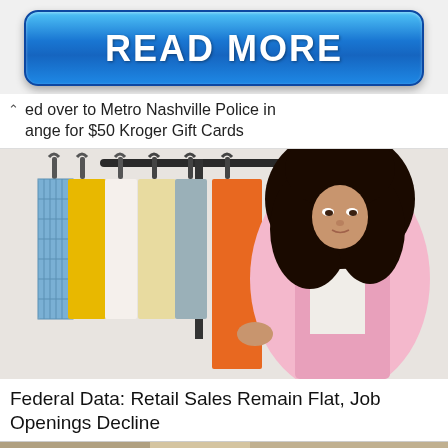[Figure (other): Blue READ MORE button with rounded corners and gradient styling]
ed over to Metro Nashville Police in exchange for $50 Kroger Gift Cards
[Figure (photo): Young woman with curly hair wearing a pink cardigan looking at orange clothing on a clothing rack with colorful garments hanging]
Federal Data: Retail Sales Remain Flat, Job Openings Decline
[Figure (photo): Partial bottom image strip, partially visible]